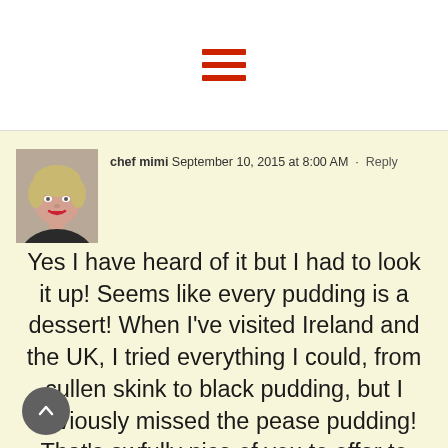[Figure (other): Hamburger menu icon — three horizontal red bars]
[Figure (photo): Avatar/profile photo of chef mimi — woman with short blonde hair and red lipstick]
chef mimi  September 10, 2015 at 8:00 AM · Reply
Yes I have heard of it but I had to look it up! Seems like every pudding is a dessert! When I've visited Ireland and the UK, I tried everything I could, from cullen skink to black pudding, but I obviously missed the pease pudding! That's awfully nice of you to offer to send me